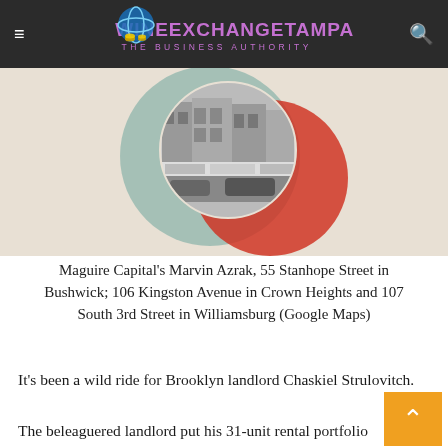WINEEXCHANGETAMPA THE BUSINESS AUTHORITY
[Figure (photo): Hero image showing a black-and-white street scene with storefront buildings, overlaid with overlapping circle graphics in red and teal/sage green tones on a beige background.]
Maguire Capital’s Marvin Azrak, 55 Stanhope Street in Bushwick; 106 Kingston Avenue in Crown Heights and 107 South 3rd Street in Williamsburg (Google Maps)
It’s been a wild ride for Brooklyn landlord Chaskiel Strulovitch.
The beleaguered landlord put his 31-unit rental portfolio into Chapter 11 two years ago in Westchester County to thwart foreclosure by